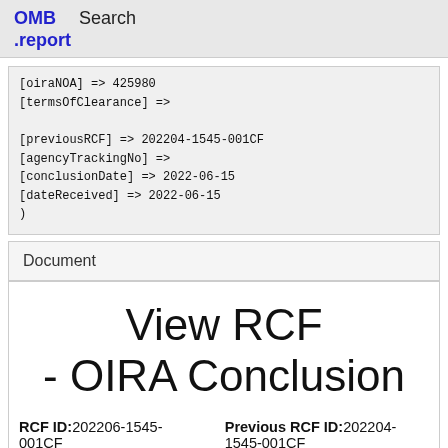OMB .report   Search
[oiraNOA] => 425980
    [termsOfClearance] =>

    [previousRCF] => 202204-1545-001CF
    [agencyTrackingNo] =>
    [conclusionDate] => 2022-06-15
    [dateReceived] => 2022-06-15
)
Document
View RCF - OIRA Conclusion
RCF ID: 202206-1545-001CF   Previous RCF ID: 202204-1545-001CF